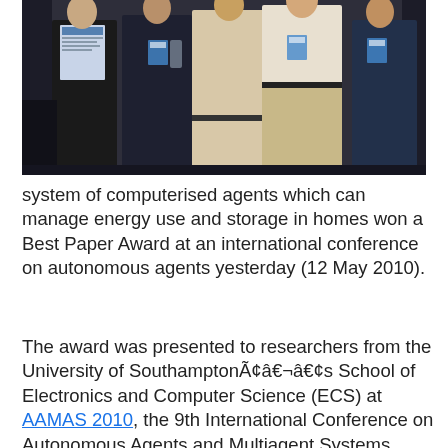[Figure (photo): A group of people standing together at a conference event, one person on the left holding a certificate/award document. They appear to be at an awards ceremony with conference name badges visible.]
system of computerised agents which can manage energy use and storage in homes won a Best Paper Award at an international conference on autonomous agents yesterday (12 May 2010).
The award was presented to researchers from the University of SouthamptonÃ¢â‌¬â€¢s School of Electronics and Computer Science (ECS) at AAMAS 2010, the 9th International Conference on Autonomous Agents and Multiagent Systems